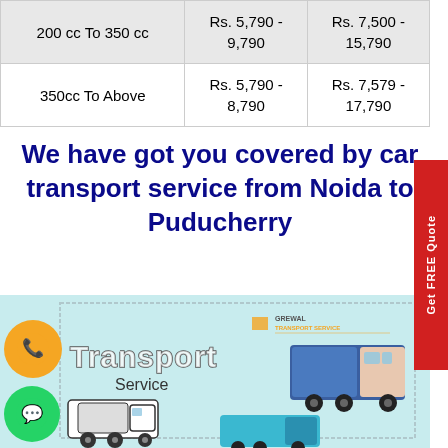|  | Col1 | Col2 |
| --- | --- | --- |
| 200 cc To 350 cc | Rs. 5,790 - 9,790 | Rs. 7,500 - 15,790 |
| 350cc To Above | Rs. 5,790 - 8,790 | Rs. 7,579 - 17,790 |
We have got you covered by car transport service from Noida to Puducherry
[Figure (illustration): Transport Service illustration with trucks, orange call button, green WhatsApp button, and Grewal Transport Service logo on light blue background]